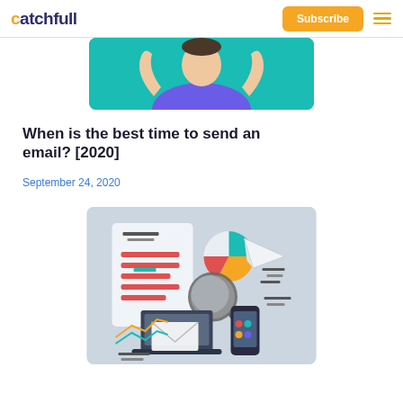catchfull | Subscribe
[Figure (illustration): Partial illustration of a person with raised hands on teal background, cropped at top]
When is the best time to send an email? [2020]
September 24, 2020
[Figure (illustration): Email marketing illustration showing a document with red text lines, magnifying glass, paper airplane, laptop, envelope, smartphone, and charts on a light gray background]